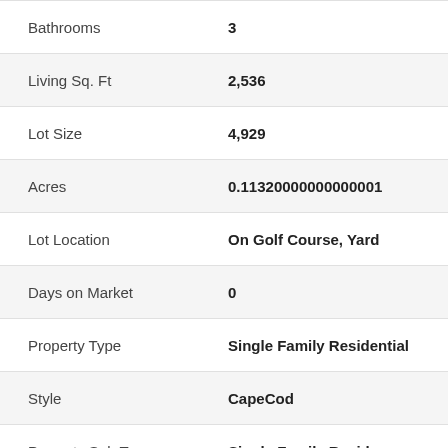| Field | Value |
| --- | --- |
| Bathrooms | 3 |
| Living Sq. Ft | 2,536 |
| Lot Size | 4,929 |
| Acres | 0.11320000000000001 |
| Lot Location | On Golf Course, Yard |
| Days on Market | 0 |
| Property Type | Single Family Residential |
| Style | CapeCod |
| Property Sub Type | Single Family Residence |
| Stories | Two Levels |